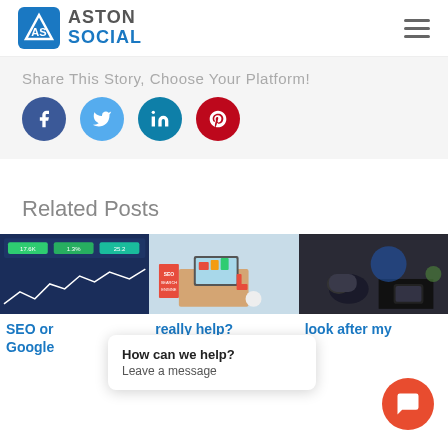Aston Social
Share This Story, Choose Your Platform!
[Figure (infographic): Social share buttons: Facebook (dark blue circle), Twitter (light blue circle), LinkedIn (teal circle), Pinterest (red circle)]
Related Posts
[Figure (screenshot): Analytics dashboard screenshot showing stats: 17.6K, 1.3%, 25.2 with a graph]
[Figure (photo): Office desk with laptop, SEO sign on wall, lamp]
[Figure (photo): Team meeting around table with laptops and screens]
SEO or Google
really help?
look after my
How can we help?
Leave a message